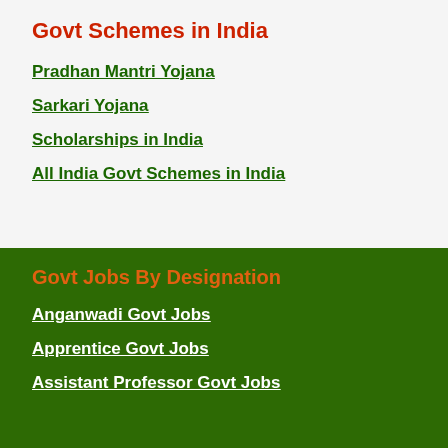Govt Schemes in India
Pradhan Mantri Yojana
Sarkari Yojana
Scholarships in India
All India Govt Schemes in India
Govt Jobs By Designation
Anganwadi Govt Jobs
Apprentice Govt Jobs
Assistant Professor Govt Jobs